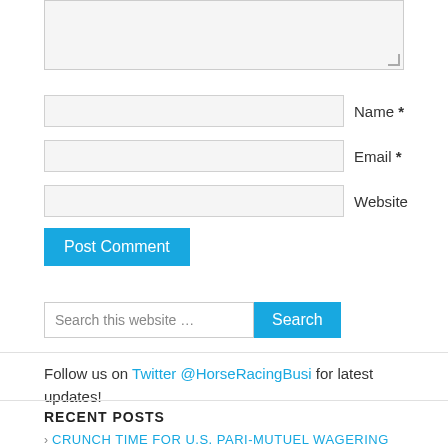[Figure (screenshot): Textarea input box (comment field), partially shown at top of page]
Name *
Email *
Website
Post Comment
Search this website ...
Search
Follow us on Twitter @HorseRacingBusi for latest updates!
RECENT POSTS
CRUNCH TIME FOR U.S. PARI-MUTUEL WAGERING